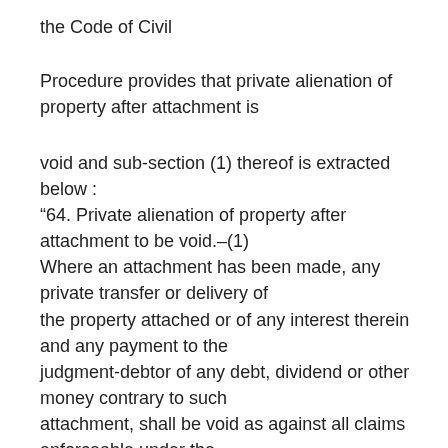the Code of Civil
Procedure provides that private alienation of property after attachment is
void and sub-section (1) thereof is extracted below :
“64. Private alienation of property after attachment to be void.–(1)
Where an attachment has been made, any private transfer or delivery of
the property attached or of any interest therein and any payment to the
judgment-debtor of any debt, dividend or other money contrary to such
attachment, shall be void as against all claims enforceable under the
attachment.”